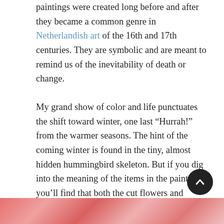paintings were created long before and after they became a common genre in Netherlandish art of the 16th and 17th centuries. They are symbolic and are meant to remind us of the inevitability of death or change.
My grand show of color and life punctuates the shift toward winter, one last “Hurrah!” from the warmer seasons. The hint of the coming winter is found in the tiny, almost hidden hummingbird skeleton. But if you dig into the meaning of the items in the painting, you’ll find that both the cut flowers and skeleton symbolize the same things – death or transience. The cut flowers are preserved my painting in full bloom glory, but they began to fade even before I’d finished the paintings. But don’t worry, the butterflies are a symbol of regeneration, resurrection and the cycle of life. Everything’s going to be fine.
[Figure (photo): A strip of pink/red floral or artistic imagery at the bottom of the page]